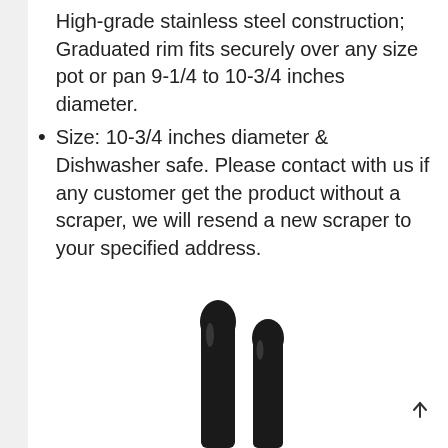High-grade stainless steel construction; Graduated rim fits securely over any size pot or pan 9-1/4 to 10-3/4 inches diameter.
Size: 10-3/4 inches diameter & Dishwasher safe. Please contact with us if any customer get the product without a scraper, we will resend a new scraper to your specified address.
[Figure (photo): Two black kitchen tongs or scrapers shown side by side, photographed against a white background. The handles extend upward and the tools appear to be made of shiny black material.]